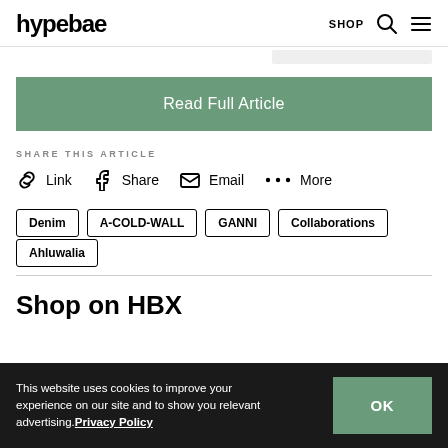hypebae   SHOP
Read Full Article
SHARE THIS ARTICLE
Link   Share   Email   More
Denim
A-COLD-WALL
GANNI
Collaborations
Ahluwalia
Shop on HBX
This website uses cookies to improve your experience on our site and to show you relevant advertising. Privacy Policy   OK